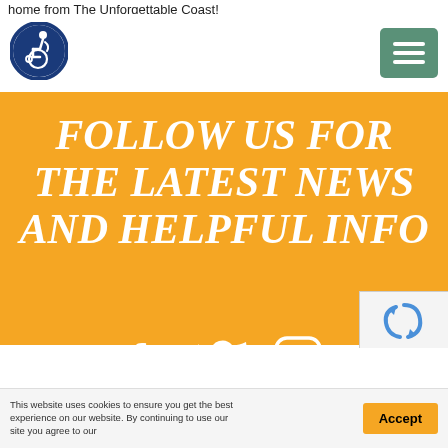home from The Unforgettable Coast!
[Figure (logo): Accessibility icon: person in wheelchair, circular blue border badge]
[Figure (other): Hamburger menu button (three horizontal lines) on green/teal background]
FOLLOW US FOR THE LATEST NEWS AND HELPFUL INFO
[Figure (other): Social media icons: Facebook, Twitter, Instagram in white on orange background]
[Figure (other): reCAPTCHA widget partial]
This website uses cookies to ensure you get the best experience on our website. By continuing to use our site you agree to our
Accept